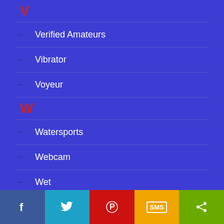V
Verified Amateurs
Vibrator
Voyeur
W
Watersports
Webcam
Wet
White
Facebook | Twitter | Pinterest | SMS | Share